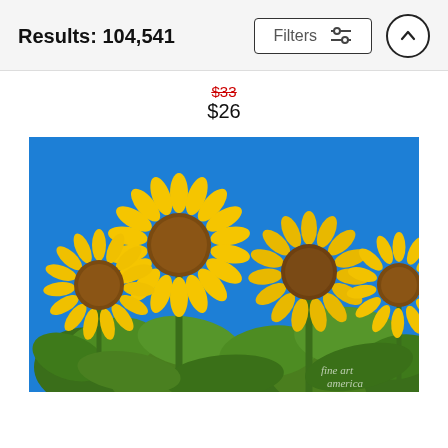Results: 104,541
$33 (strikethrough, original price) $26 (sale price)
[Figure (photo): Photograph of sunflowers with yellow petals and brown centers against a bright blue sky, with large green leaves visible. Watermark reads 'fine art america' in bottom right corner.]